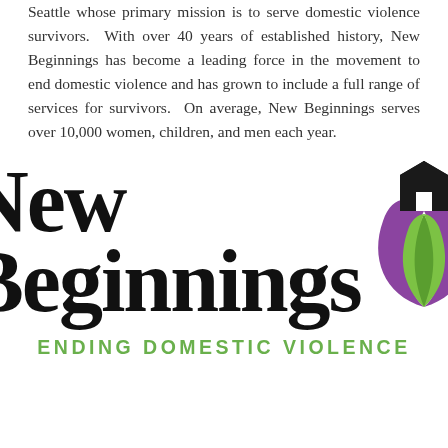Seattle whose primary mission is to serve domestic violence survivors. With over 40 years of established history, New Beginnings has become a leading force in the movement to end domestic violence and has grown to include a full range of services for survivors. On average, New Beginnings serves over 10,000 women, children, and men each year.
[Figure (logo): New Beginnings logo featuring large bold text 'New Beginnings' with a stylized flower/lotus icon in purple and green with a house silhouette on top, and the tagline 'ENDING DOMESTIC VIOLENCE' in green below.]